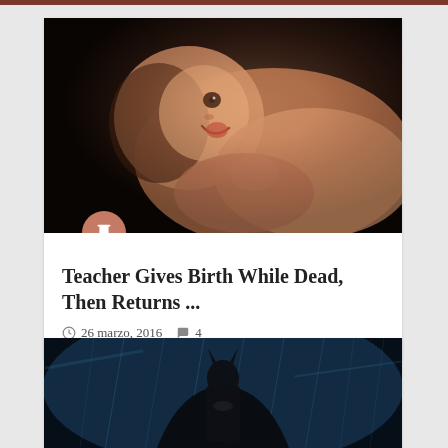[Figure (photo): Close-up photo of a smiling newborn baby against a dark background]
Teacher Gives Birth While Dead, Then Returns ...
26 marzo, 2016  4
[Figure (photo): Dark atmospheric photo of Batman standing in rain]